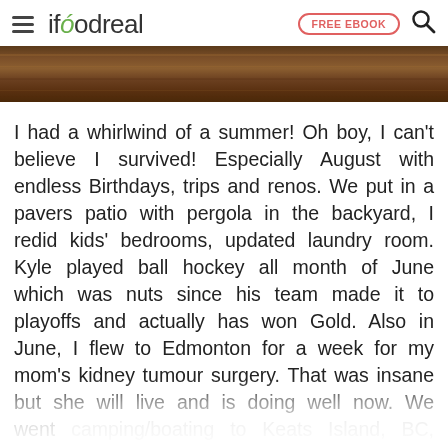ifoodreal | FREE EBOOK
[Figure (photo): Wooden surface / wood grain banner image]
I had a whirlwind of a summer! Oh boy, I can't believe I survived! Especially August with endless Birthdays, trips and renos. We put in a pavers patio with pergola in the backyard, I redid kids' bedrooms, updated laundry room. Kyle played ball hockey all month of June which was nuts since his team made it to playoffs and actually has won Gold. Also in June, I flew to Edmonton for a week for my mom's kidney tumour surgery. That was insane but she will live and is doing well now. We went camping/boating to Keats Island, BC, drove to Long Beach, WA, then Whistler, BC. We biked, we hiked, we went to the lake